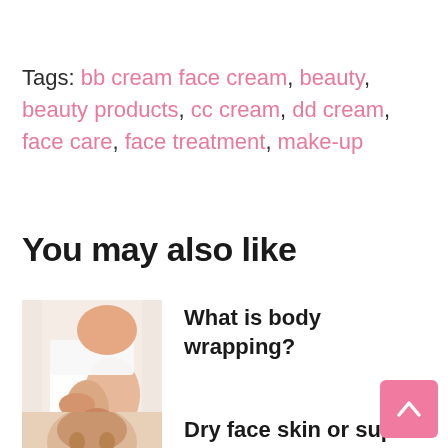Tags: bb cream face cream, beauty, beauty products, cc cream, dd cream, face care, face treatment, make-up
You may also like
[Figure (photo): Thumbnail photo of a person in white wrap touching their leg, related to body wrapping article]
What is body wrapping?
[Figure (photo): Thumbnail photo of a person's face, related to dry face skin article]
Dry face skin  or super skin